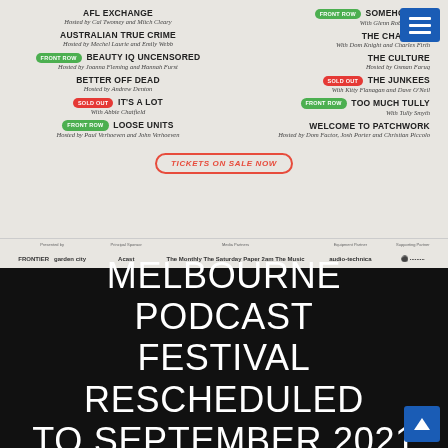[Figure (infographic): Melbourne Podcast Festival event lineup flyer showing show names, hosts, and ticket information on a light beige background]
AFL EXCHANGE - Hosted by Cal Twomey and Mitch Cleary
SOMEHOW R... - With Glenn Robbins and ...
AUSTRALIAN TRUE CRIME - Hosted by Mechel Laurie and Emily Webb
THE CHASER ... - With Dom Knight and Charles Firth
BEAUTY IQ UNCENSORED (Front Row) - Hosted by Joanna Fleming and Hannah Furst
THE CULTURE - Hosted by Osman Faruq
BETTER OFF DEAD - Hosted by Andrew Denton
THE JUNKEES (Sold Out) - With Kitty Flanagan and Dave O'Neil
IT'S A LOT (Sold Out) - With Abbie Chatfield
TOO MUCH TULLY (Front Row) - With Tully Smyth
LOOSE UNITS (Front Row) - Hosted by Paul Verhoeven and John Verhoeven
WELCOME TO PATCHWORK - Hosted by Dom Factor, Josh Porter and Christian Piccolo
TICKETS ON SALE NOW
MELBOURNE PODCAST FESTIVAL RESCHEDULED TO SEPTEMBER 2021